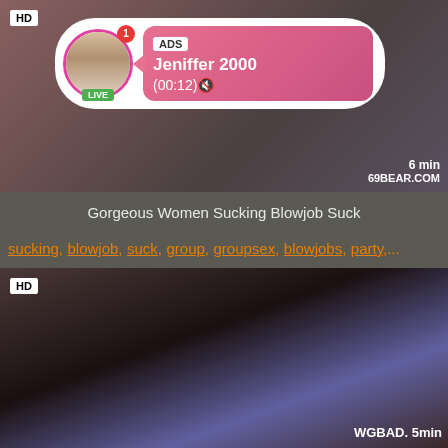[Figure (screenshot): Top video thumbnail showing group party scene with HD badge, 6 min duration, 69BEAR.COM watermark, and an ad overlay bubble with avatar, LIVE badge, ADS label, name Jeniffer 2000, and time (00:12)]
Gorgeous Women Sucking Blowjob Suck
sucking, blowjob, suck, group, groupsex, blowjobs, party,...
[Figure (screenshot): Bottom video thumbnail showing party scene, HD badge, WGBAD. watermark, 5min duration label]